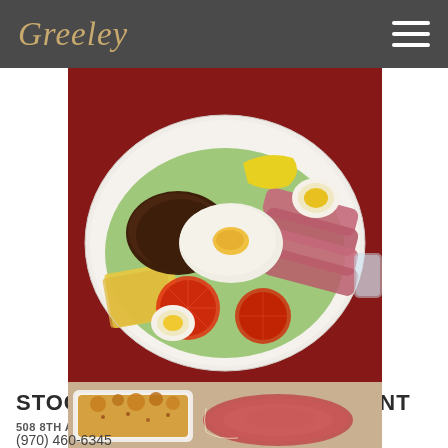Greeley
[Figure (photo): Overhead photo of a large plate with sliced ham, hard boiled eggs, cottage cheese, refried beans, tomato slices, lettuce, and cheese slices arranged on a white plate with a dark red background]
STOCKMAN'S CAFÉ RESTAURANT
508 8TH AVENUEGREELEY, COLORADO 80631
(970) 460-6345
[Figure (photo): Partial bottom photo showing a casserole dish with cheesy baked food and a slice of ham on a wooden surface]